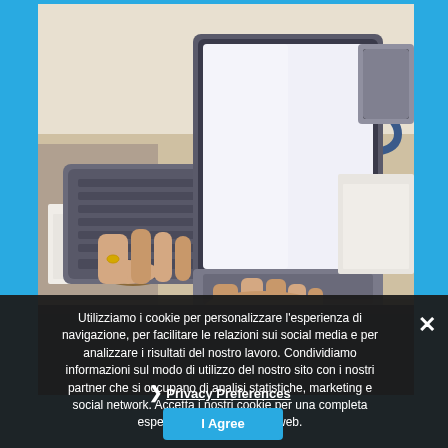[Figure (photo): Office scene with two people working on laptops at a desk, with papers, a coffee cup and a mug visible]
Utilizziamo i cookie per personalizzare l'esperienza di navigazione, per facilitare le relazioni sui social media e per analizzare i risultati del nostro lavoro. Condividiamo informazioni sul modo di utilizzo del nostro sito con i nostri partner che si occupano di analisi statistiche, marketing e social network. Accetta i nostri cookie per una completa esperienza sul nostro sito web.
❯ Privacy Preferences
I Agree